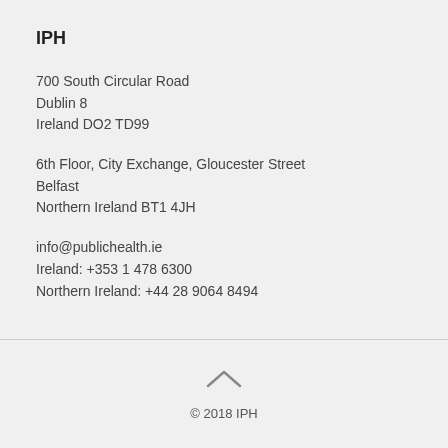IPH
700 South Circular Road
Dublin 8
Ireland DO2 TD99
6th Floor, City Exchange, Gloucester Street
Belfast
Northern Ireland BT1 4JH
info@publichealth.ie
Ireland: +353 1 478 6300
Northern Ireland: +44 28 9064 8494
© 2018 IPH